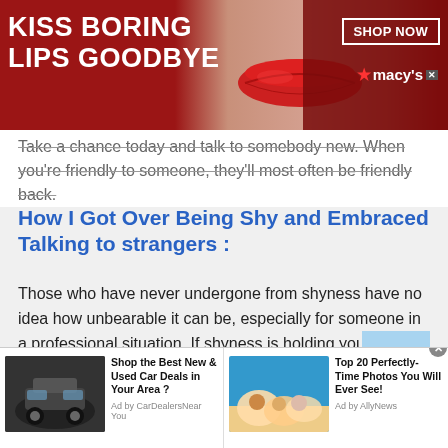[Figure (illustration): Advertisement banner: red background with 'KISS BORING LIPS GOODBYE' text on left, woman's face with red lips in center, 'SHOP NOW' button and Macy's logo on right]
Take a chance today and talk to somebody new. When you're friendly to someone, they'll most often be friendly back.
How I Got Over Being Shy and Embraced Talking to strangers :
Those who have never undergone from shyness have no idea how unbearable it can be, especially for someone in a professional situation. If shyness is holding you back, learn how to get past it and become more confident.
[Figure (infographic): Two sponsored content ad tiles at bottom: 'Shop the Best New & Used Car Deals in Your Area?' by CarDealerNear You, and 'Top 20 Perfectly-Time Photos You Will Ever See!' by AllyNews]